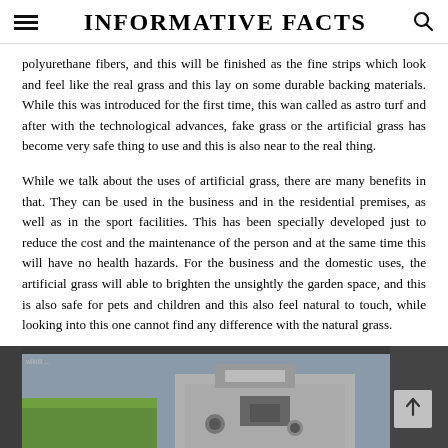INFORMATIVE FACTS
polyurethane fibers, and this will be finished as the fine strips which look and feel like the real grass and this lay on some durable backing materials. While this was introduced for the first time, this wan called as astro turf and after with the technological advances, fake grass or the artificial grass has become very safe thing to use and this is also near to the real thing.
While we talk about the uses of artificial grass, there are many benefits in that. They can be used in the business and in the residential premises, as well as in the sport facilities. This has been specially developed just to reduce the cost and the maintenance of the person and at the same time this will have no health hazards. For the business and the domestic uses, the artificial grass will able to brighten the unsightly the garden space, and this is also safe for pets and children and this also feel natural to touch, while looking into this one cannot find any difference with the natural grass.
[Figure (photo): Outdoor garden area showing artificial green grass alongside dark structural elements, viewed from above.]